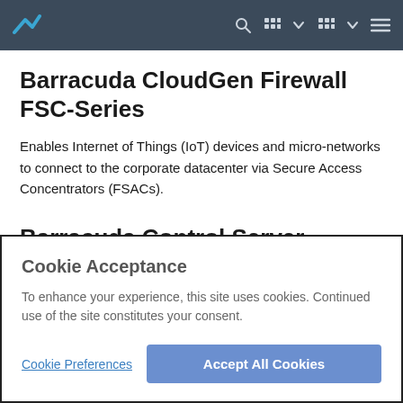Barracuda CloudGen Firewall FSC-Series
Barracuda CloudGen Firewall FSC-Series
Enables Internet of Things (IoT) devices and micro-networks to connect to the corporate datacenter via Secure Access Concentrators (FSACs).
Barracuda Control Server
Cookie Acceptance
To enhance your experience, this site uses cookies. Continued use of the site constitutes your consent.
Cookie Preferences
Accept All Cookies